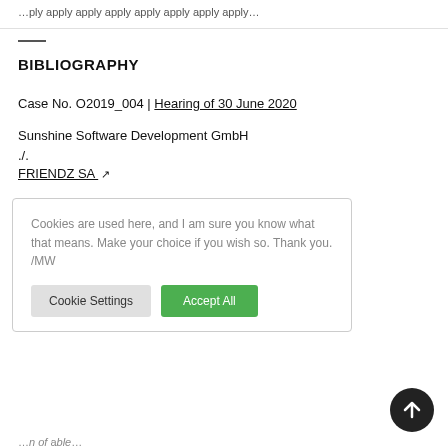...apply apply...
BIBLIOGRAPHY
Case No. O2019_004 | Hearing of 30 June 2020
Sunshine Software Development GmbH
./.
FRIENDZ SA ↗
Cookies are used here, and I am sure you know what that means. Make your choice if you wish so. Thank you. /MW
Cookie Settings   Accept All